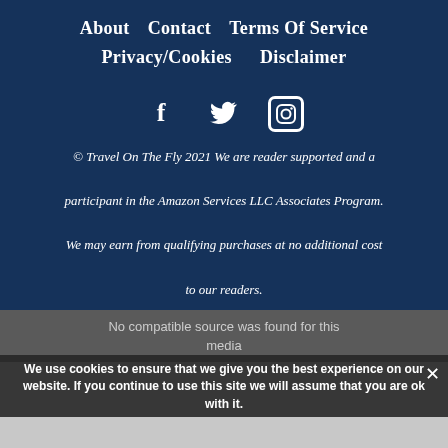About  Contact  Terms Of Service  Privacy/Cookies  Disclaimer
[Figure (illustration): Social media icons: Facebook (f), Twitter (bird), Instagram (camera outline)]
© Travel On The Fly 2021 We are reader supported and a participant in the Amazon Services LLC Associates Program. We may earn from qualifying purchases at no additional cost to our readers.
No compatible source was found for this media
We use cookies to ensure that we give you the best experience on our website. If you continue to use this site we will assume that you are ok with it.